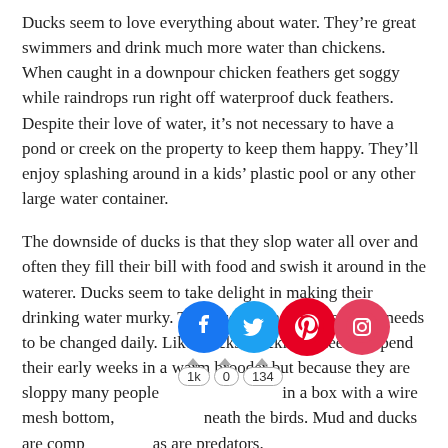Ducks seem to love everything about water. They're great swimmers and drink much more water than chickens. When caught in a downpour chicken feathers get soggy while raindrops run right off waterproof duck feathers. Despite their love of water, it's not necessary to have a pond or creek on the property to keep them happy. They'll enjoy splashing around in a kids' plastic pool or any other large water container.
The downside of ducks is that they slop water all over and often they fill their bill with food and swish it around in the waterer. Ducks seem to take delight in making their drinking water murky. The recommendation is that it needs to be changed daily. Like chicks, ducklings need to spend their early weeks in a warm brooder but because they are sloppy many people prefer to put them in a box with a wire mesh bottom, so water drains beneath the birds. Mud and ducks are compatible as are predators.